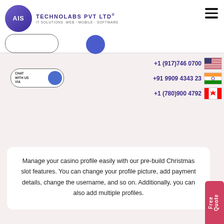AIS TECHNOLABS PVT LTD | IT SOLUTIONS WEB · MOBILE · SOFTWARE
+1 (917)746 0700
+91 9909 4343 23
+1 (780)900 4792
Manage your casino profile easily with our pre-build Christmas slot features. You can change your profile picture, add payment details, change the username, and so on. Additionally, you can also add multiple profiles.
[Figure (logo): AIS Technolabs Pvt Ltd company logo with purple globe icon]
Game Management